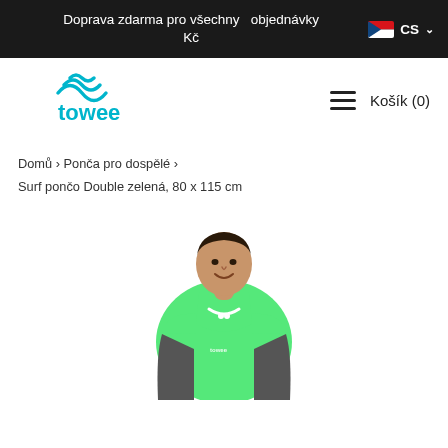Doprava zdarma pro všechny objednávky Kč   CS
[Figure (logo): Towee brand logo with cyan wave/swirl icon above the word 'towee' in cyan]
Košík (0)
Domů › Ponča pro dospělé › Surf pončo Double zelená, 80 x 115 cm
[Figure (photo): Man wearing a green and dark grey Towee surf poncho hoodie, smiling, shown from torso up against white background]